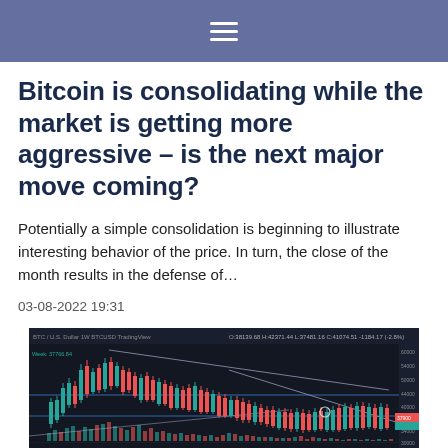☰
Bitcoin is consolidating while the market is getting more aggressive – is the next major move coming?
Potentially a simple consolidation is beginning to illustrate interesting behavior of the price. In turn, the close of the month results in the defense of…
03-08-2022 19:31
[Figure (screenshot): Bitcoin/U.S. Dollar weekly TradingView candlestick chart showing price action with descending channel lines, support/resistance levels marked with horizontal blue lines, and MACD indicator at the bottom. Dark theme chart.]